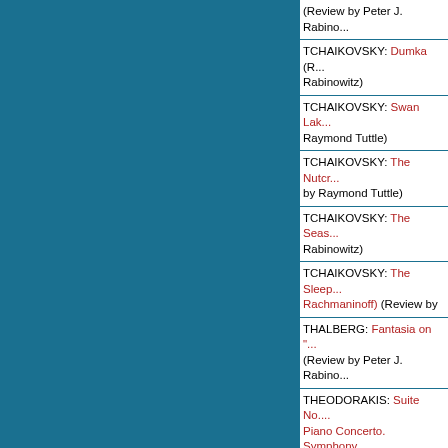(Review by Peter J. Rabino...
TCHAIKOVSKY: Dumka (R... Rabinowitz)
TCHAIKOVSKY: Swan Lak... Raymond Tuttle)
TCHAIKOVSKY: The Nutcr... by Raymond Tuttle)
TCHAIKOVSKY: The Seas... Rabinowitz)
TCHAIKOVSKY: The Sleep... Rachmaninoff) (Review by
THALBERG: Fantasia on "... (Review by Peter J. Rabino...
THEODORAKIS: Suite No.... Piano Concerto. Symphony... Burwasser)
THEODORAKIS: Suite No.... Symphony No. 2, "The Ear... A. Snook)
TRADITIONAL: Kalamatian... Noriega)
TRADITIONAL: Kalamatian... Rabinowitz)
VLADIGEROV, PANCHO: ... by Peter J. Rabinowitz)